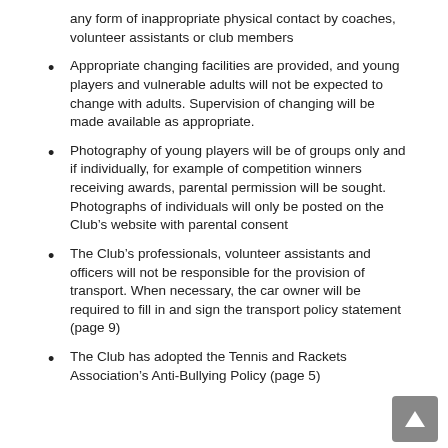any form of inappropriate physical contact by coaches, volunteer assistants or club members
Appropriate changing facilities are provided, and young players and vulnerable adults will not be expected to change with adults. Supervision of changing will be made available as appropriate.
Photography of young players will be of groups only and if individually, for example of competition winners receiving awards, parental permission will be sought. Photographs of individuals will only be posted on the Club’s website with parental consent
The Club’s professionals, volunteer assistants and officers will not be responsible for the provision of transport. When necessary, the car owner will be required to fill in and sign the transport policy statement (page 9)
The Club has adopted the Tennis and Rackets Association’s Anti-Bullying Policy (page 5)